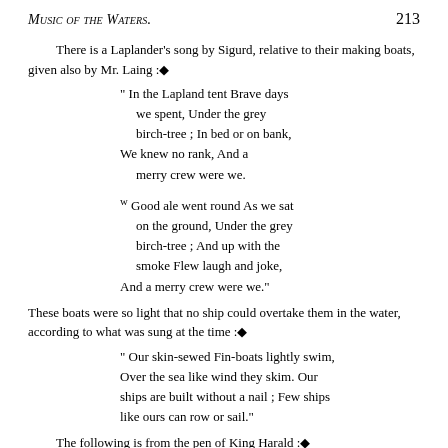Music of the Waters. 213
There is a Laplander's song by Sigurd, relative to their making boats, given also by Mr. Laing :◆
" In the Lapland tent Brave days we spent, Under the grey birch-tree ; In bed or on bank, We knew no rank, And a merry crew were we.

w Good ale went round As we sat on the ground, Under the grey birch-tree ; And up with the smoke Flew laugh and joke, And a merry crew were we."
These boats were so light that no ship could overtake them in the water, according to what was sung at the time :◆
" Our skin-sewed Fin-boats lightly swim, Over the sea like wind they skim. Our ships are built without a nail ; Few ships like ours can row or sail."
The following is from the pen of King Harald :◆
" While wives of husbands fondly dream, Here let us anchor in the stream, In Godnarfjord ; we'll safely moor Our sea-